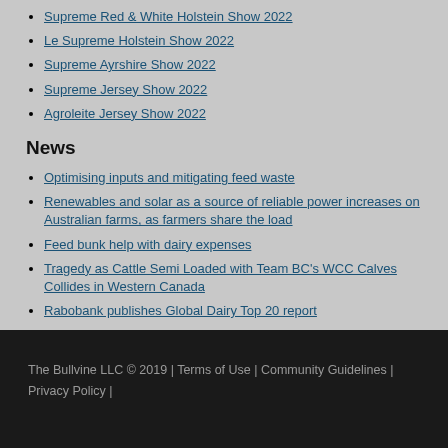Supreme Red & White Holstein Show 2022
Le Supreme Holstein Show 2022
Supreme Ayrshire Show 2022
Supreme Jersey Show 2022
Agroleite Jersey Show 2022
News
Optimising inputs and mitigating feed waste
Renewables and solar as a source of reliable power increases on Australian farms, as farmers share the load
Feed bunk help with dairy expenses
Tragedy as Cattle Semi Loaded with Team BC's WCC Calves Collides in Western Canada
Rabobank publishes Global Dairy Top 20 report
The Bullvine LLC © 2019 | Terms of Use | Community Guidelines | Privacy Policy |